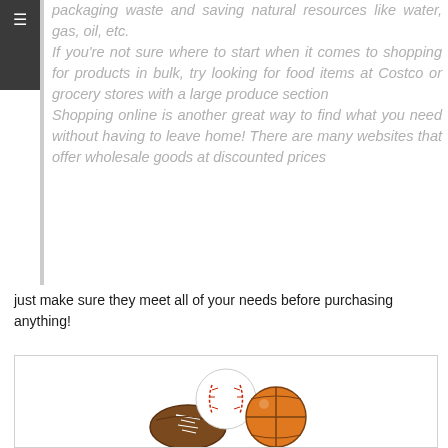packaging waste and saving natural resources like water, gas, oil, etc. If you're not sure where to start when it comes to shopping for products in bulk, try looking for food items at Costco or grocery stores with a large produce section Shopping online is another great way to find what you need without having to leave home! There are many websites that offer wholesale goods at discounted prices
just make sure they meet all of your needs before purchasing anything!
[Figure (photo): Three sports balls: a baseball (white with red stitching), a basketball (orange with black lines), and a football (brown with white laces), grouped together on a white background.]